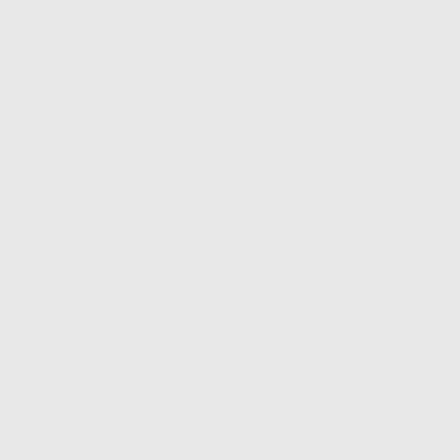Parent | Comments top
War is the prerogative of We, The People, functioning via our Congress, who authorize the President to conduct war on our behalf.

What its going to take is a Katrina sized wallop that gets all of us and doesn't fade from sight in a few news cycles. Another whopper storm hitting oil processing on the Gulf Coast might do it assuming this whole less than MOL thing is as